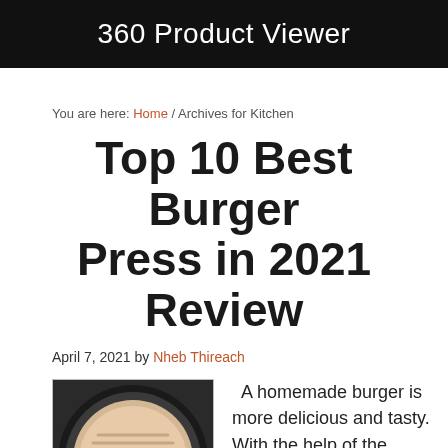360 Product Viewer
You are here: Home / Archives for Kitchen
Top 10 Best Burger Press in 2021 Review
April 7, 2021 by Nheb Thireach
[Figure (photo): A raw burger patty in a black burger press with ridged grill pattern]
A homemade burger is more delicious and tasty. With the help of the burger press, making a burger at home is economical and offers you a more fun experience. Additionally, you will also have